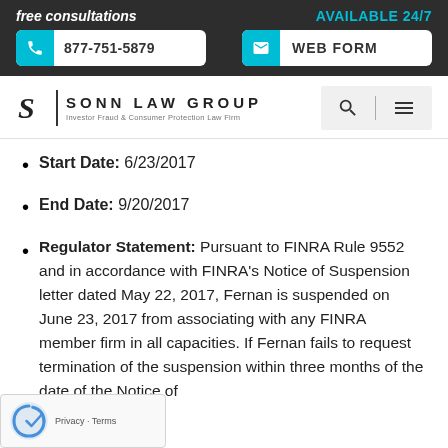free consultations | AVAILABLE 24/7 | 877-751-5879 | WEB FORM
[Figure (logo): Sonn Law Group logo with S emblem and text: SONN LAW GROUP, Investor Fraud & Consumer Protection Law Firm]
Start Date: 6/23/2017
End Date: 9/20/2017
Regulator Statement: Pursuant to FINRA Rule 9552 and in accordance with FINRA's Notice of Suspension letter dated May 22, 2017, Fernan is suspended on June 23, 2017 from associating with any FINRA member firm in all capacities. If Fernan fails to request termination of the suspension within three months of the date of the Notice of